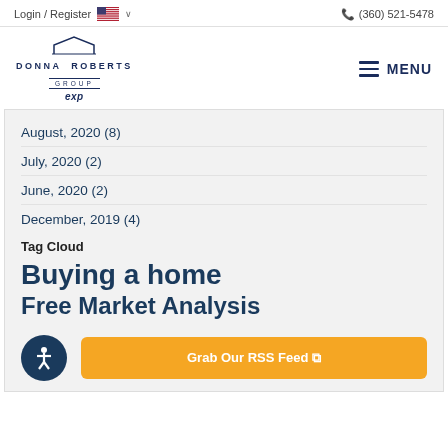Login / Register  🇺🇸  ∨    📞 (360) 521-5478
[Figure (logo): Donna Roberts Group eXp Realty logo with house icon above text]
August, 2020  (8)
July, 2020  (2)
June, 2020  (2)
December, 2019  (4)
Tag Cloud
Buying a home
Free Market Analysis
Grab Our RSS Feed